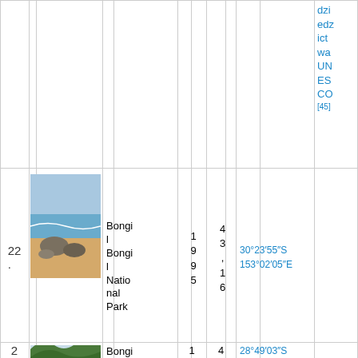| # | Photo | Name | Year | Area | Coordinates | Heritage |
| --- | --- | --- | --- | --- | --- | --- |
|  |  |  |  |  |  | dziedzictwa UNESCO[45] |
| 22. | [photo: beach with rocks] | Bongil Bongil National Park | 1995 | 43,16 | 30°23′55″S 153°02′05″E |  |
| 23. | [photo: forested valley] | Bongil Bongil … | 19… | 47… | 28°49′03″S … |  |